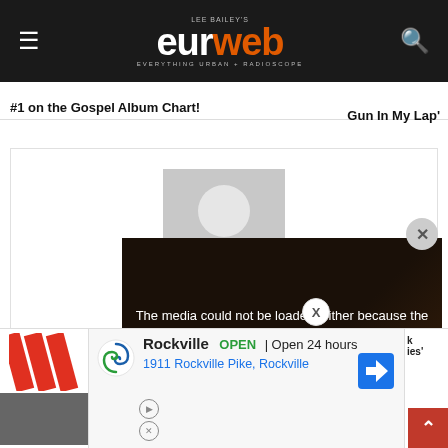LEE BAILEY'S eurweb EVERYTHING URBAN + RADIOSCOPE
#1 on the Gospel Album Chart!
Gun In My Lap'
[Figure (photo): Profile placeholder avatar with gray silhouette on gray card, showing 'DeBo' partial name]
[Figure (screenshot): Video player showing error: 'The media could not be loaded, either because the server or network failed or because the format is not supported.' with X close button]
[Figure (infographic): Advertisement for Google Maps showing Rockville business listing: OPEN, Open 24 hours, 1911 Rockville Pike, Rockville with swirl logo and navigation icon]